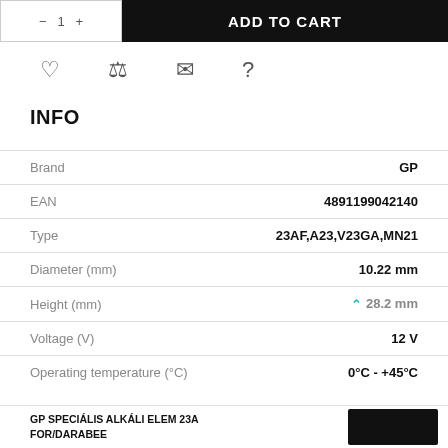[Figure (screenshot): Add to cart button row with quantity selector on the left and black ADD TO CART button on the right]
[Figure (infographic): Row of four icons: heart (wishlist), balance scale (compare), envelope (email), question mark (help)]
INFO
|  |  |
| --- | --- |
| Brand | GP |
| EAN | 4891199042140 |
| Type | 23AF,A23,V23GA,MN21 |
| Diameter (mm) | 10.22 mm |
| Height (mm) | 28.2 mm |
| Voltage (V) | 12 V |
| Operating temperature (°C) | 0°C - +45°C |
GP SPECIÁLIS ALKÁLI ELEM 23A FOR/DARABEE